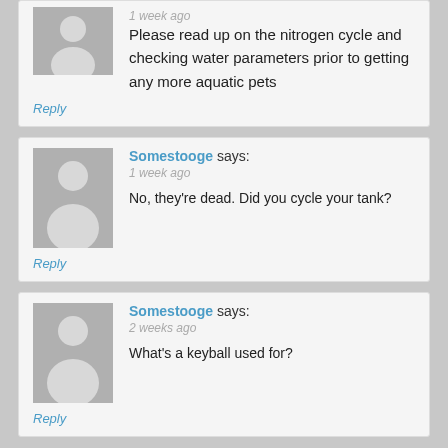1 week ago
Please read up on the nitrogen cycle and checking water parameters prior to getting any more aquatic pets
Reply
Somestooge says:
1 week ago
No, they're dead. Did you cycle your tank?
Reply
Somestooge says:
2 weeks ago
What's a keyball used for?
Reply